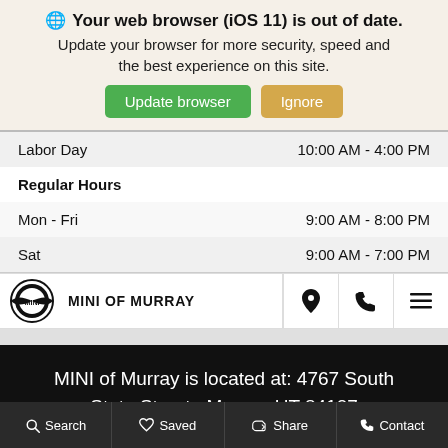🌐 Your web browser (iOS 11) is out of date. Update your browser for more security, speed and the best experience on this site.
|  |  |
| --- | --- |
| Labor Day | 10:00 AM - 4:00 PM |
| Regular Hours |  |
| Mon - Fri | 9:00 AM - 8:00 PM |
| Sat | 9:00 AM - 7:00 PM |
MINI OF MURRAY
MINI of Murray is located at: 4767 South State Street · Murray, UT 84107
Search   Saved   Share   Contact